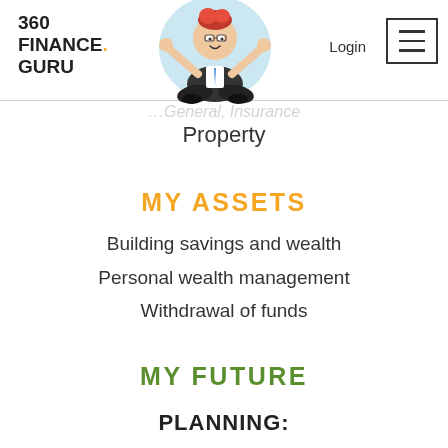360 FINANCE. GURU
[Figure (illustration): Cartoon mascot of a man in business attire sitting cross-legged in a meditative pose with arms raised]
Login
Property
MY ASSETS
Building savings and wealth
Personal wealth management
Withdrawal of funds
MY FUTURE
PLANNING: